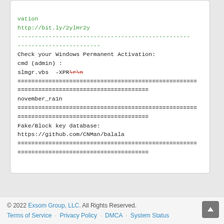vation
http://bit.ly/2ylHr2y
--------------------------------------------------
------------------------
Check your Windows Permanent Activation:
cmd (admin) :
slmgr.vbs  -XPR\r\n (strikethrough on \r\n)
====================================================
======================================
november_ra1n
====================================================
======================================
Fake/Block key database:
https://github.com/CNMan/balala
====================================================
======================================
© 2022 Exsom Group, LLC. All Rights Reserved.
Terms of Service · Privacy Policy · DMCA · System Status